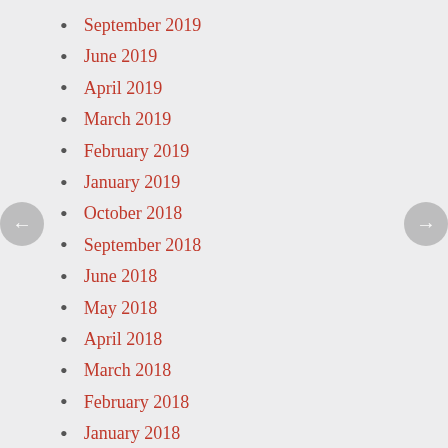September 2019
June 2019
April 2019
March 2019
February 2019
January 2019
October 2018
September 2018
June 2018
May 2018
April 2018
March 2018
February 2018
January 2018
December 2017
November 2017